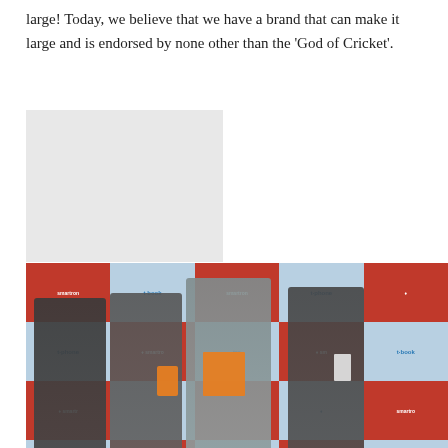large! Today, we believe that we have a brand that can make it large and is endorsed by none other than the 'God of Cricket'.
[Figure (photo): Top portion shows a blank/white rectangular image placeholder. Below it is a product launch event photo showing four men in suits standing in front of a branded backdrop with red and light blue squares featuring 'smartron', 't-phone', 't-book' logos. The men are holding smartphones and tablets/boxes.]